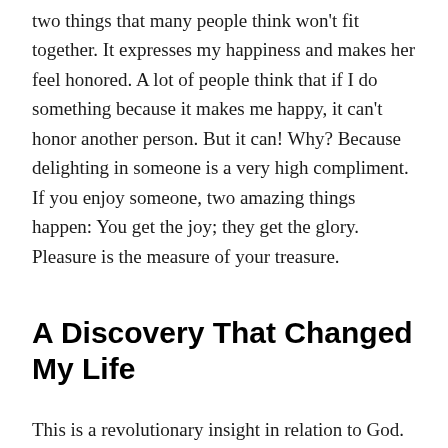two things that many people think won't fit together. It expresses my happiness and makes her feel honored. A lot of people think that if I do something because it makes me happy, it can't honor another person. But it can! Why? Because delighting in someone is a very high compliment. If you enjoy someone, two amazing things happen: You get the joy; they get the glory. Pleasure is the measure of your treasure.
A Discovery That Changed My Life
This is a revolutionary insight in relation to God. Here's what it means: God is most glorified in you